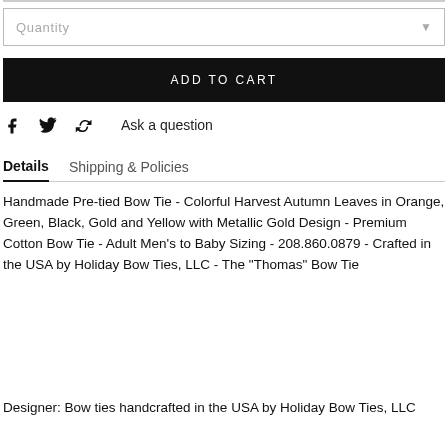Quantity
ADD TO CART
Ask a question
Details   Shipping & Policies
Handmade Pre-tied Bow Tie - Colorful Harvest Autumn Leaves in Orange, Green, Black, Gold and Yellow with Metallic Gold Design - Premium Cotton Bow Tie - Adult Men's to Baby Sizing - 208.860.0879 - Crafted in the USA by Holiday Bow Ties, LLC - The "Thomas" Bow Tie
Designer: Bow ties handcrafted in the USA by Holiday Bow Ties, LLC